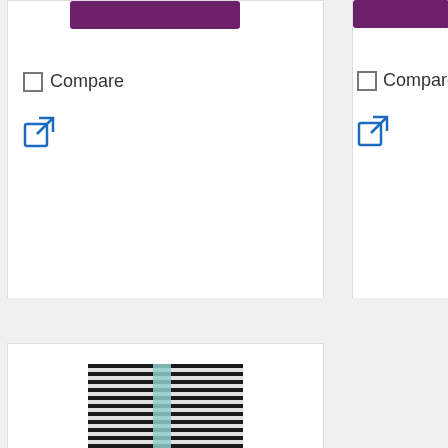[Figure (screenshot): Purple add-to-cart button from product card, top left, partially visible]
Compare
[Figure (illustration): External link icon (blue square with arrow), top left card]
[Figure (screenshot): Purple add-to-cart button from product card, top right, partially visible]
Compare
[Figure (illustration): External link icon (blue square with arrow), top right card]
[Figure (photo): Product photo: Black and white horizontal striped gift wrap roll/package with teal/mint ribbon]
Black & White Stripe Gift Wrap, 30″ x 208′